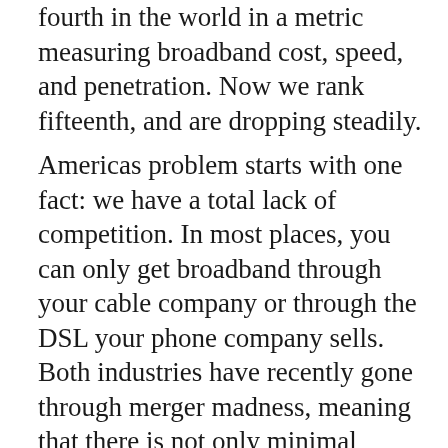fourth in the world in a metric measuring broadband cost, speed, and penetration. Now we rank fifteenth, and are dropping steadily.
Americas problem starts with one fact: we have a total lack of competition. In most places, you can only get broadband through your cable company or through the DSL your phone company sells. Both industries have recently gone through merger madness, meaning that there is not only minimal competition between industries, theres minimal competition within industries. Youre basically locked into one of two bad options. The government tried to solve this problem in the 1996 Telecom Act, which required the incumbent monopolists to lease their